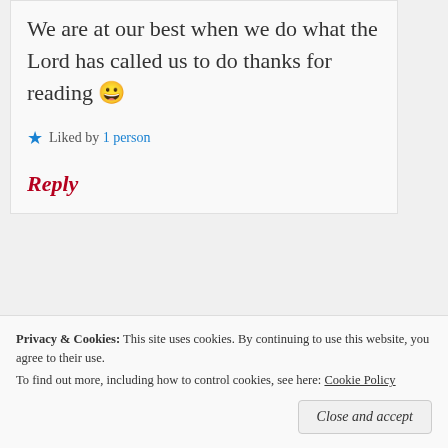We are at our best when we do what the Lord has called us to do thanks for reading 😀
★ Liked by 1 person
Reply
Privacy & Cookies: This site uses cookies. By continuing to use this website, you agree to their use.
To find out more, including how to control cookies, see here: Cookie Policy
Close and accept